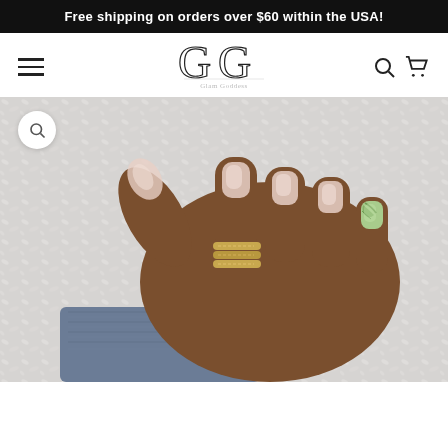Free shipping on orders over $60 within the USA!
[Figure (logo): GG Glam Goddess logo — two large overlapping G letters with cursive brand name underneath]
[Figure (photo): Close-up photo of a dark-skinned hand resting on white fluffy fabric, wearing gold chain rings on the index finger, denim sleeve visible at wrist. Nails are manicured: most nails have sheer/iridescent polish, one nail (pinky) has green marble nail art.]